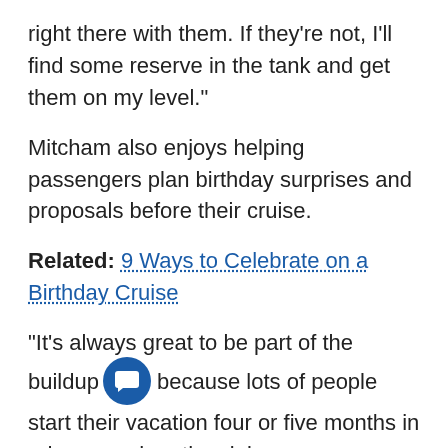right there with them. If they're not, I'll find some reserve in the tank and get them on my level."
Mitcham also enjoys helping passengers plan birthday surprises and proposals before their cruise.
Related: 9 Ways to Celebrate on a Birthday Cruise
"It's always great to be part of the buildup, because lots of people start their vacation four or five months in advance, when they join